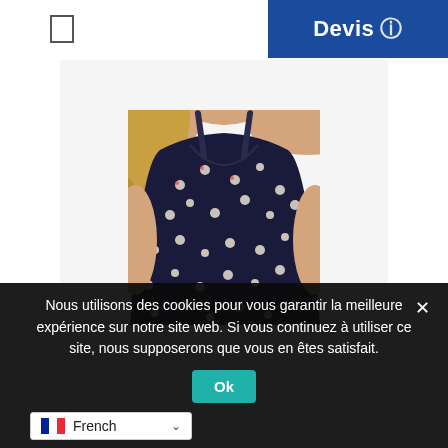[Figure (photo): Woman wearing a navy blue floral spaghetti strap camisole top with small white/pink flowers. The photo shows the upper body and torso area. The background is white.]
Devis
Nous utilisons des cookies pour vous garantir la meilleure expérience sur notre site web. Si vous continuez à utiliser ce site, nous supposerons que vous en êtes satisfait.
Ok
French